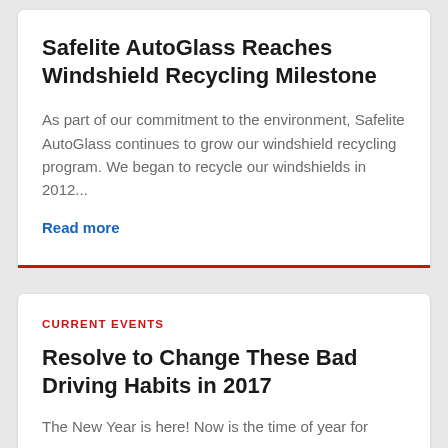Safelite AutoGlass Reaches Windshield Recycling Milestone
As part of our commitment to the environment, Safelite AutoGlass continues to grow our windshield recycling program. We began to recycle our windshields in 2012...
Read more
CURRENT EVENTS
Resolve to Change These Bad Driving Habits in 2017
The New Year is here! Now is the time of year for